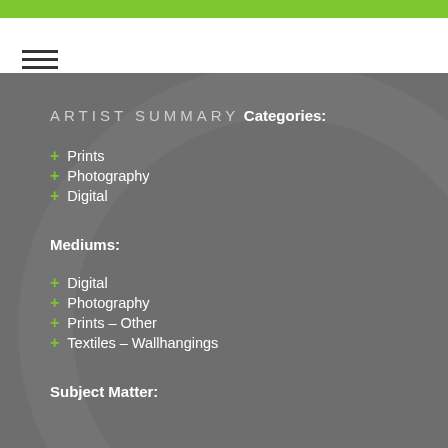ARTIST SUMMARY
Categories:
+ Prints
+ Photography
+ Digital
Mediums:
+ Digital
+ Photography
+ Prints – Other
+ Textiles – Wallhangings
Subject Matter: